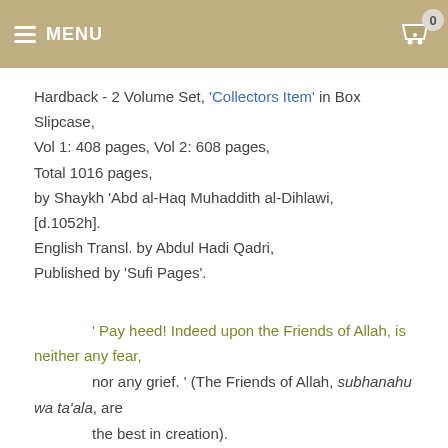MENU
Hardback - 2 Volume Set, 'Collectors Item' in Box Slipcase,
Vol 1: 408 pages, Vol 2: 608 pages,
Total 1016 pages,
by Shaykh 'Abd al-Haq Muhaddith al-Dihlawi,
[d.1052h].
English Transl. by Abdul Hadi Qadri,
Published by 'Sufi Pages'.
' Pay heed! Indeed upon the Friends of Allah, is neither any fear,
nor any grief. ' (The Friends of Allah, subhanahu wa ta'ala, are the best in creation).